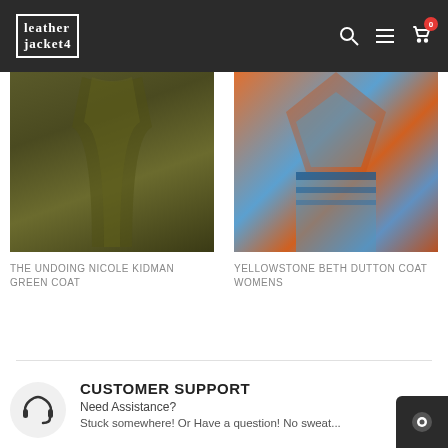LEATHER JACKET 4
[Figure (photo): The Undoing Nicole Kidman green coat product photo]
THE UNDOING NICOLE KIDMAN GREEN COAT
[Figure (photo): Yellowstone Beth Dutton coat womens product photo - colorful geometric pattern coat]
YELLOWSTONE BETH DUTTON COAT WOMENS
CUSTOMER SUPPORT
Need Assistance?
Stuck somewhere! Or Have a question! No sweat...